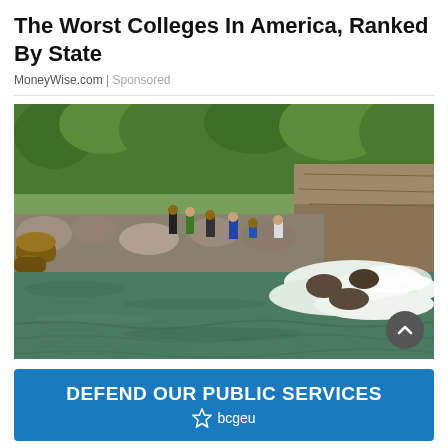The Worst Colleges In America, Ranked By State
MoneyWise.com | Sponsored
[Figure (photo): Outdoor scene showing people gathered along the rocky bank of a river with rushing whitewater. Dense green trees and a rocky cliff wall are visible in the background. Several people in casual and work attire are standing and sitting near logs on the riverbank.]
[Figure (logo): Blue banner advertisement reading 'DEFEND OUR PUBLIC SERVICES' with bcgeu star logo below the text]